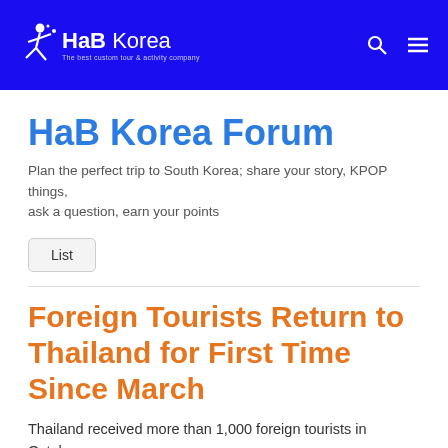HaB Korea — The best custom tour & activity company
HaB Korea Forum
Plan the perfect trip to South Korea; share your story, KPOP things, ask a question, earn your points
Foreign Tourists Return to Thailand for First Time Since March
Thailand received more than 1,000 foreign tourists in October,